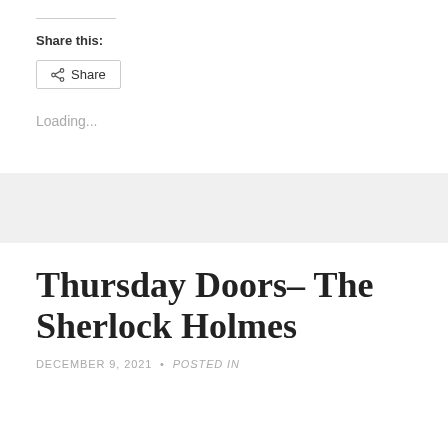Share this:
Share
Loading...
Thursday Doors- The Sherlock Holmes
DECEMBER 9, 2021 • Posted in